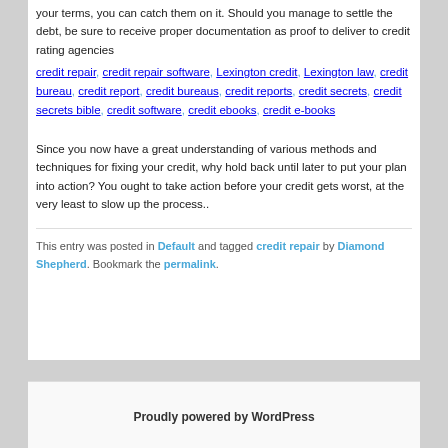your terms, you can catch them on it. Should you manage to settle the debt, be sure to receive proper documentation as proof to deliver to credit rating agencies
credit repair, credit repair software, Lexington credit, Lexington law, credit bureau, credit report, credit bureaus, credit reports, credit secrets, credit secrets bible, credit software, credit ebooks, credit e-books
Since you now have a great understanding of various methods and techniques for fixing your credit, why hold back until later to put your plan into action? You ought to take action before your credit gets worst, at the very least to slow up the process..
This entry was posted in Default and tagged credit repair by Diamond Shepherd. Bookmark the permalink.
Proudly powered by WordPress